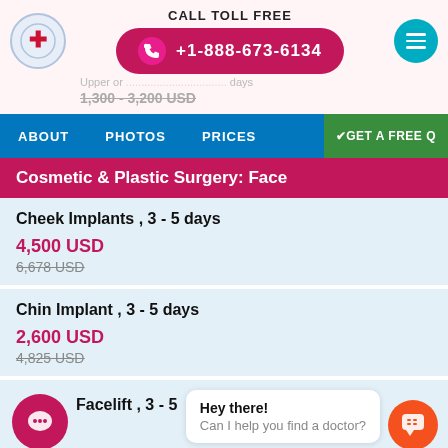CALL TOLL FREE +1-888-673-6134
Upper or ... days
1,300 - 3,200 USD
ABOUT   PHOTOS   PRICES   GET A FREE Q
Cosmetic & Plastic Surgery: Face
Cheek Implants , 3 - 5 days
4,500 USD
6,678 USD
Chin Implant , 3 - 5 days
2,600 USD
4,825 USD
Facelift , 3 - 5
4,500 USD
Hey there! Can I help you find a doctor?